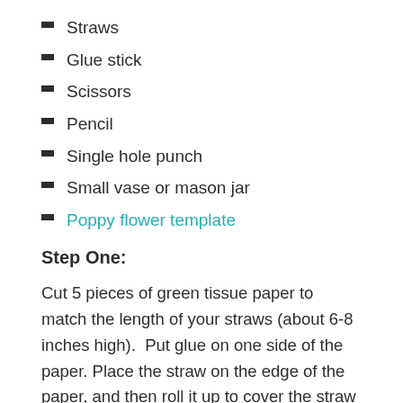Straws
Glue stick
Scissors
Pencil
Single hole punch
Small vase or mason jar
Poppy flower template
Step One:
Cut 5 pieces of green tissue paper to match the length of your straws (about 6-8 inches high).  Put glue on one side of the paper. Place the straw on the edge of the paper, and then roll it up to cover the straw with green tissue paper.  Do this for all 5 straws to